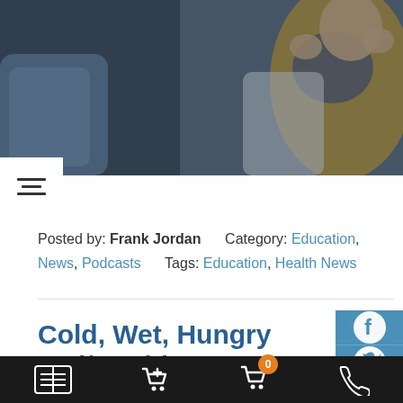[Figure (photo): Person wearing a scarf and warm clothing, sitting on a couch, appearing cold]
Posted by: Frank Jordan   Category: Education, News, Podcasts   Tags: Education, Health News
Cold, Wet, Hungry and/or Thirsty
Natural weather caused storms and events are reeking havoc from coast to coast. Incredible snow falls and ice have crippled transportatio…